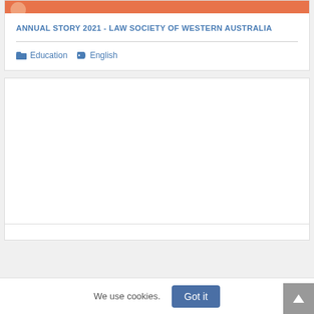[Figure (other): Orange banner with circular element at top of card]
ANNUAL STORY 2021 - LAW SOCIETY OF WESTERN AUSTRALIA
Education  English
[Figure (other): Empty white card content area]
We use cookies.
Got it